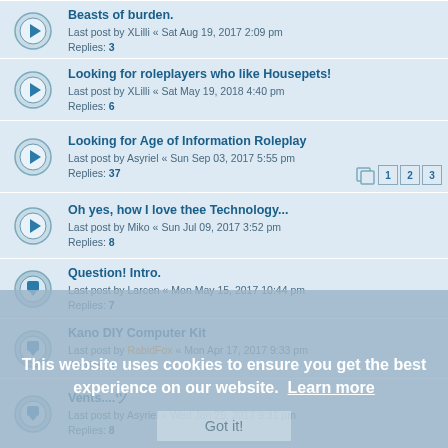Beasts of burden. Last post by XLilli « Sat Aug 19, 2017 2:09 pm Replies: 3
Looking for roleplayers who like Housepets! Last post by XLilli « Sat May 19, 2018 4:40 pm Replies: 6
Looking for Age of Information Roleplay Last post by Asyriel « Sun Sep 03, 2017 5:55 pm Replies: 37 [pages: 1 2 3]
Oh yes, how I love thee Technology... Last post by Miko « Sun Jul 09, 2017 3:52 pm Replies: 8
Question! Intro. Last post by Larcen « Mon May 15, 2017 10:44 pm Replies: 7
Kano DIY Computer Kit Last post by RabidFox « Mon Apr 17, 2017 9:33 pm Replies: 3
Vents....ツ Last post by Asyriel « Wed Jan 25, 2017 9:31 pm Replies: 8
Greetings! Last post by Cheshire « Wed Dec 28, 2016 3:43 pm Replies: 3
Happy Christmas! Last post by philipandre1231 « Sat Dec 24, 2016 7:38 pm Replies: 1
This website uses cookies to ensure you get the best experience on our website. Learn more Got it!